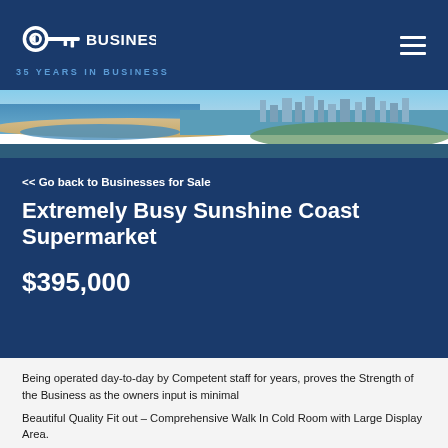[Figure (logo): KD Business logo with key icon and '35 YEARS IN BUSINESS' tagline on dark blue background]
[Figure (photo): Aerial panoramic photo of Sunshine Coast coastline showing beach, waterway, and city skyline]
<< Go back to Businesses for Sale
Extremely Busy Sunshine Coast Supermarket
$395,000
Being operated day-to-day by Competent staff for years, proves the Strength of the Business as the owners input is minimal
Beautiful Quality Fit out – Comprehensive Walk In Cold Room with Large Display Area.
Great POS System Accessible from Your Home Computer as Well As Complete Security Camera System 50,000 Locals in the Immediate Area. Prepares Exceptional Home-cooked Food